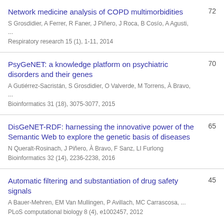Network medicine analysis of COPD multimorbidities | S Grosdidier, A Ferrer, R Faner, J Piñero, J Roca, B Cosío, A Agusti, ... | Respiratory research 15 (1), 1-11, 2014 | 72
PsyGeNET: a knowledge platform on psychiatric disorders and their genes | A Gutiérrez-Sacristán, S Grosdidier, O Valverde, M Torrens, À Bravo, ... | Bioinformatics 31 (18), 3075-3077, 2015 | 70
DisGeNET-RDF: harnessing the innovative power of the Semantic Web to explore the genetic basis of diseases | N Queralt-Rosinach, J Piñero, À Bravo, F Sanz, LI Furlong | Bioinformatics 32 (14), 2236-2238, 2016 | 65
Automatic filtering and substantiation of drug safety signals | A Bauer-Mehren, EM Van Mullingen, P Avillach, MC Carrascosa, ... | PLoS computational biology 8 (4), e1002457, 2012 | 45